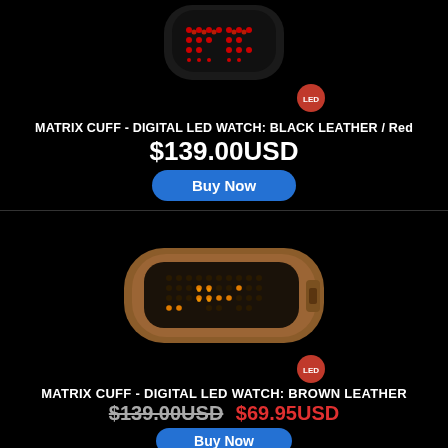[Figure (photo): Matrix Cuff Digital LED Watch with black leather wristband, showing red LED dot matrix display on dark face, partially cropped at top]
[Figure (logo): Small circular red LED brand badge/logo]
MATRIX CUFF - DIGITAL LED WATCH: BLACK LEATHER / Red
$139.00USD
Buy Now
[Figure (photo): Matrix Cuff Digital LED Watch with brown leather wristband, showing amber/orange LED dot matrix display on dark face]
[Figure (logo): Small circular red LED brand badge/logo]
MATRIX CUFF - DIGITAL LED WATCH: BROWN LEATHER
$139.00USD $69.95USD
Buy Now